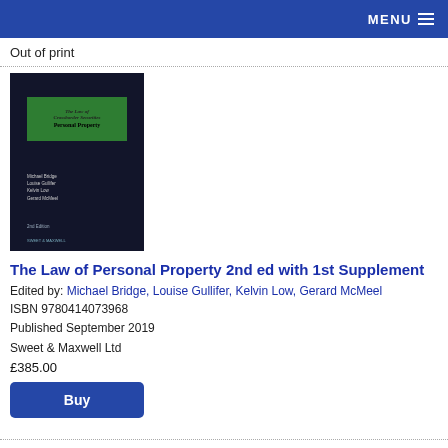MENU
Out of print
[Figure (photo): Book cover for 'The Law of Personal Property 2nd ed with 1st Supplement' — dark navy cover with a green label box showing the title, authors listed below, and publisher details at the bottom.]
The Law of Personal Property 2nd ed with 1st Supplement
Edited by: Michael Bridge, Louise Gullifer, Kelvin Low, Gerard McMeel
ISBN 9780414073968
Published September 2019
Sweet & Maxwell Ltd
£385.00